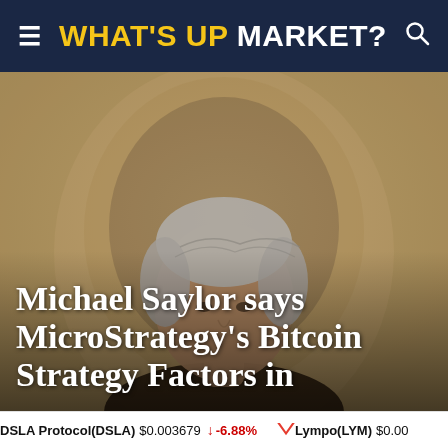WHAT'S UP MARKET?
[Figure (photo): Close-up photograph of Michael Saylor, a man with grey/white hair, photographed against a stone arch background with warm golden tones. The image is used as a hero/banner image for the article.]
Michael Saylor says MicroStrategy's Bitcoin Strategy Factors in
DSLA Protocol(DSLA) $0.003679 ↓ -6.88%   Lympo(LYM) $0.00